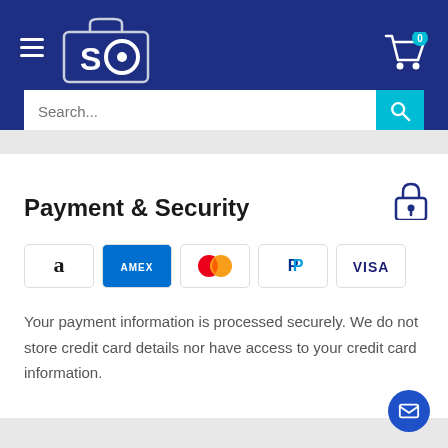SO store header with logo, hamburger menu, cart (0), and search bar
Payment & Security
[Figure (logo): Payment method icons: Amazon Pay, American Express, Mastercard, PayPal, Visa]
Your payment information is processed securely. We do not store credit card details nor have access to your credit card information.